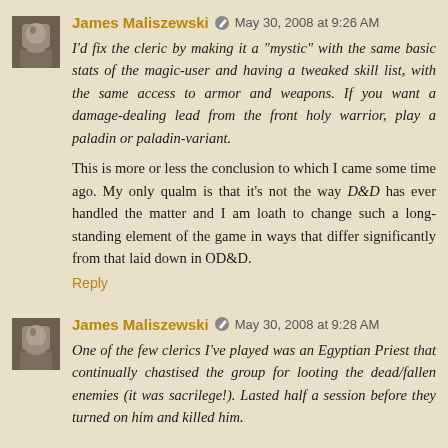[Figure (photo): Small grayscale avatar image of a person, used as commenter profile picture]
James Maliszewski  May 30, 2008 at 9:26 AM
I'd fix the cleric by making it a "mystic" with the same basic stats of the magic-user and having a tweaked skill list, with the same access to armor and weapons. If you want a damage-dealing lead from the front holy warrior, play a paladin or paladin-variant.
This is more or less the conclusion to which I came some time ago. My only qualm is that it's not the way D&D has ever handled the matter and I am loath to change such a long-standing element of the game in ways that differ significantly from that laid down in OD&D.
Reply
[Figure (photo): Small grayscale avatar image of a person, used as commenter profile picture]
James Maliszewski  May 30, 2008 at 9:28 AM
One of the few clerics I've played was an Egyptian Priest that continually chastised the group for looting the dead/fallen enemies (it was sacrilege!). Lasted half a session before they turned on him and killed him.